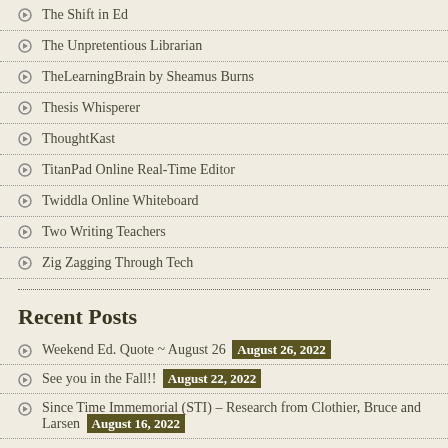The Shift in Ed
The Unpretentious Librarian
TheLearningBrain by Sheamus Burns
Thesis Whisperer
ThoughtKast
TitanPad Online Real-Time Editor
Twiddla Online Whiteboard
Two Writing Teachers
Zig Zagging Through Tech
Recent Posts
Weekend Ed. Quote ~ August 26  August 26, 2022
See you in the Fall!!  August 22, 2022
Since Time Immemorial (STI) – Research from Clothier, Bruce and Larsen  August 16, 2022